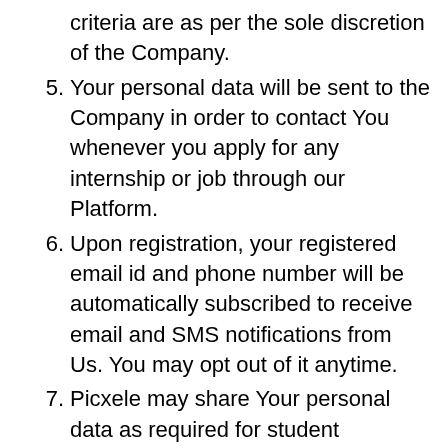criteria are as per the sole discretion of the Company.
5. Your personal data will be sent to the Company in order to contact You whenever you apply for any internship or job through our Platform.
6. Upon registration, your registered email id and phone number will be automatically subscribed to receive email and SMS notifications from Us. You may opt out of it anytime.
7. Picxele may share Your personal data as required for student verification to third party partners including but not limited to Student Identify or offline